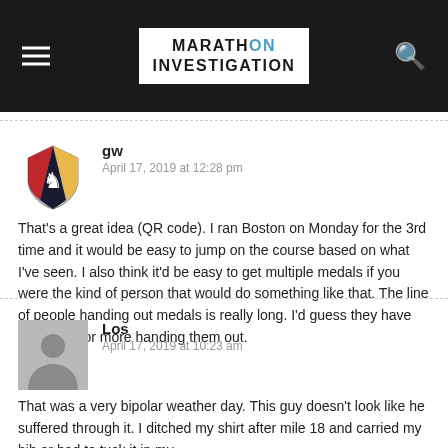MARATHON INVESTIGATION
gw
April 17, 2019 at 12:28 pm
That's a great idea (QR code). I ran Boston on Monday for the 3rd time and it would be easy to jump on the course based on what I've seen. I also think it'd be easy to get multiple medals if you were the kind of person that would do something like that. The line of people handing out medals is really long. I'd guess they have 30 people or more handing them out.
Los
April 17, 2019 at 10:23 am
That was a very bipolar weather day. This guy doesn't look like he suffered through it. I ditched my shirt after mile 18 and carried my bib or had to tuck it in my